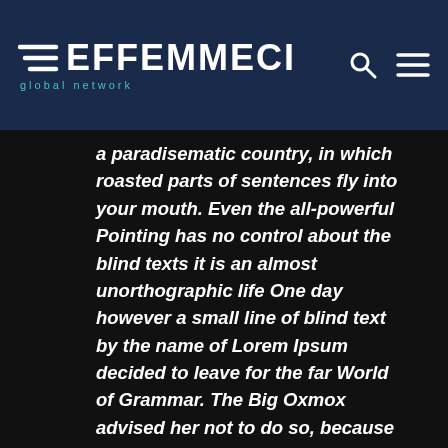[Figure (logo): Effemmeci global network logo with hamburger lines icon, text EFFEMMECI in white bold, subtitle 'global network' in teal, on dark navy background. Search and menu icons on the right.]
a paradisematic country, in which roasted parts of sentences fly into your mouth. Even the all-powerful Pointing has no control about the blind texts it is an almost unorthographic life One day however a small line of blind text by the name of Lorem Ipsum decided to leave for the far World of Grammar. The Big Oxmox advised her not to do so, because there were